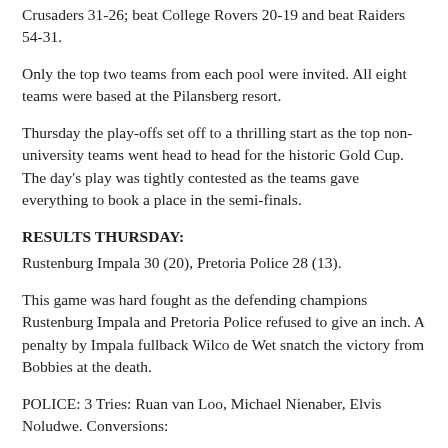Crusaders 31-26; beat College Rovers 20-19 and beat Raiders 54-31.
Only the top two teams from each pool were invited. All eight teams were based at the Pilansberg resort.
Thursday the play-offs set off to a thrilling start as the top non-university teams went head to head for the historic Gold Cup. The day's play was tightly contested as the teams gave everything to book a place in the semi-finals.
RESULTS THURSDAY:
Rustenburg Impala 30 (20), Pretoria Police 28 (13).
This game was hard fought as the defending champions Rustenburg Impala and Pretoria Police refused to give an inch. A penalty by Impala fullback Wilco de Wet snatch the victory from Bobbies at the death.
POLICE: 3 Tries: Ruan van Loo, Michael Nienaber, Elvis Noludwe. Conversions: